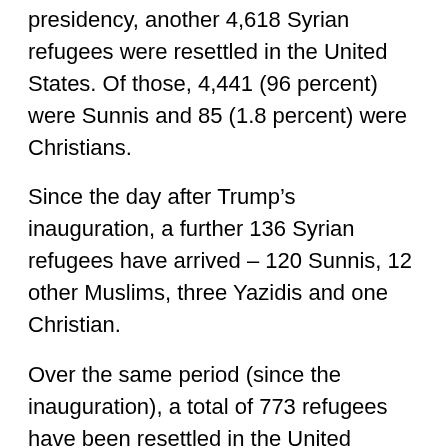presidency, another 4,618 Syrian refugees were resettled in the United States. Of those, 4,441 (96 percent) were Sunnis and 85 (1.8 percent) were Christians.
Since the day after Trump’s inauguration, a further 136 Syrian refugees have arrived – 120 Sunnis, 12 other Muslims, three Yazidis and one Christian.
Over the same period (since the inauguration), a total of 773 refugees have been resettled in the United States. Along with the 136 Syrians, they hail from 22 countries – Afghanistan (6), Bhutan (102),